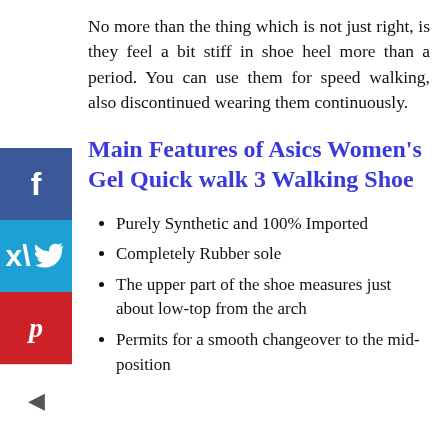No more than the thing which is not just right, is they feel a bit stiff in shoe heel more than a period. You can use them for speed walking, also discontinued wearing them continuously.
[Figure (infographic): Social sharing sidebar with Facebook (blue), Twitter (cyan), Pinterest (red) buttons and a left arrow toggle]
Main Features of Asics Women's Gel Quick walk 3 Walking Shoe
Purely Synthetic and 100% Imported
Completely Rubber sole
The upper part of the shoe measures just about low-top from the arch
Permits for a smooth changeover to the mid-position